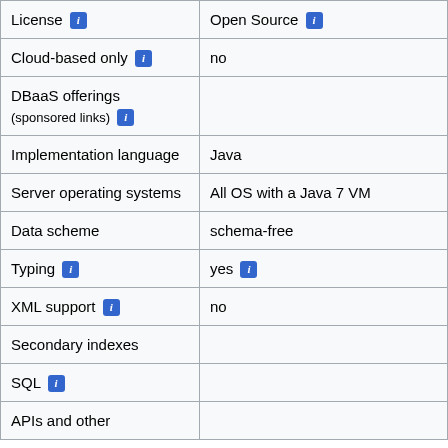| License [i] | Open Source [i] |
| Cloud-based only [i] | no |
| DBaaS offerings
(sponsored links) [i] |  |
| Implementation language | Java |
| Server operating systems | All OS with a Java 7 VM |
| Data scheme | schema-free |
| Typing [i] | yes [i] |
| XML support [i] | no |
| Secondary indexes |  |
| SQL [i] |  |
| APIs and other |  |